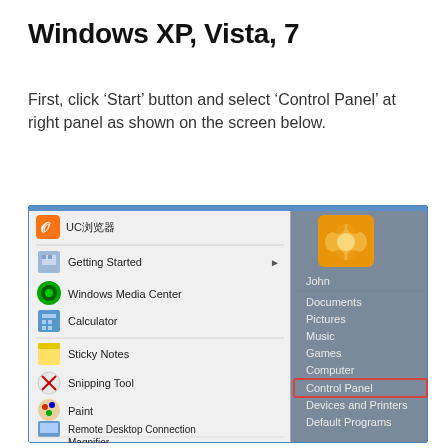Windows XP, Vista, 7
First, click ‘Start’ button and select ‘Control Panel’ at right panel as shown on the screen below.
[Figure (screenshot): Windows 7 Start Menu screenshot showing left panel with UC browser, Getting Started, Windows Media Center, Calculator, Sticky Notes, Snipping Tool, Paint, Remote Desktop Connection, Magnifier, Solitaire; right panel showing John, Documents, Pictures, Music, Games, Computer, Control Panel (highlighted with red border), Devices and Printers, Default Programs. Orange flower user profile image at top right.]